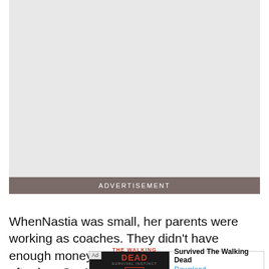[Figure (other): Advertisement placeholder image area, light gray background]
ADVERTISEMENT
WhenNastia was small, her parents were working as coaches. They didn't have enough money to afford a babys​ook after her. So, Nastia also used to hang
[Figure (other): Inline advertisement overlay: adpushup tag, Ad badge, The Walking Dead show image with PLAY button, text 'Survived The Walking Dead' and 'Download' link]